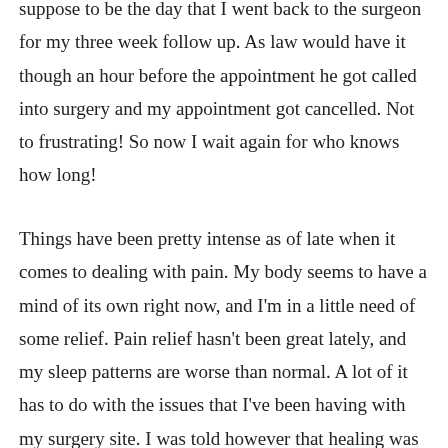suppose to be the day that I went back to the surgeon for my three week follow up. As law would have it though an hour before the appointment he got called into surgery and my appointment got cancelled. Not to frustrating! So now I wait again for who knows how long!
Things have been pretty intense as of late when it comes to dealing with pain. My body seems to have a mind of its own right now, and I'm in a little need of some relief. Pain relief hasn't been great lately, and my sleep patterns are worse than normal. A lot of it has to do with the issues that I've been having with my surgery site. I was told however that healing was going